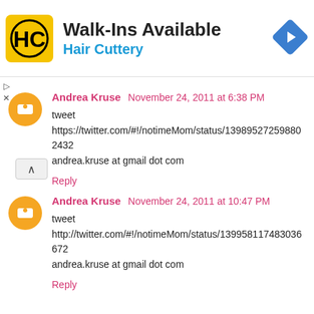[Figure (infographic): Advertisement banner for Hair Cuttery with logo, 'Walk-Ins Available' headline, and navigation arrow icon]
Andrea Kruse November 24, 2011 at 6:38 PM
tweet
https://twitter.com/#!/notimeMom/status/139895272598880
2432
andrea.kruse at gmail dot com
Reply
Andrea Kruse November 24, 2011 at 10:47 PM
tweet
http://twitter.com/#!/notimeMom/status/1399581174830366
72
andrea.kruse at gmail dot com
Reply